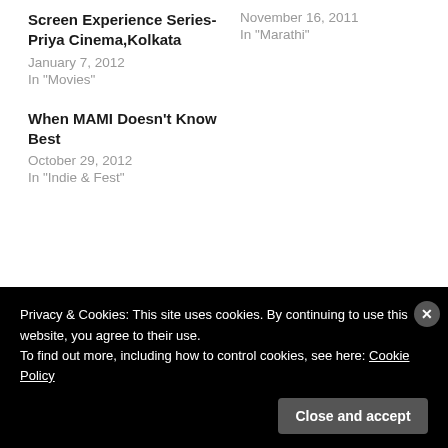Screen Experience Series- Priya Cinema,Kolkata
January 7, 2012
In "Movies"
November 16, 2011
In "Marathi"
When MAMI Doesn't Know Best
October 29, 2012
In "Indie & Fest"
Privacy & Cookies: This site uses cookies. By continuing to use this website, you agree to their use.
To find out more, including how to control cookies, see here: Cookie Policy
Close and accept